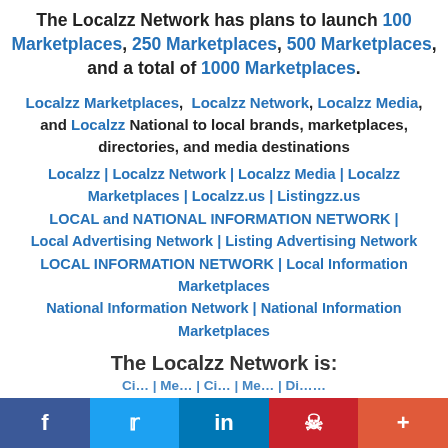The Localzz Network has plans to launch 100 Marketplaces, 250 Marketplaces, 500 Marketplaces, and a total of 1000 Marketplaces.
Localzz Marketplaces, Localzz Network, Localzz Media, and Localzz National to local brands, marketplaces, directories, and media destinations
Localzz | Localzz Network | Localzz Media | Localzz Marketplaces | Localzz.us | Listingzz.us LOCAL and NATIONAL INFORMATION NETWORK | Local Advertising Network | Listing Advertising Network LOCAL INFORMATION NETWORK | Local Information Marketplaces National Information Network | National Information Marketplaces
The Localzz Network is:
( cut off text at bottom )